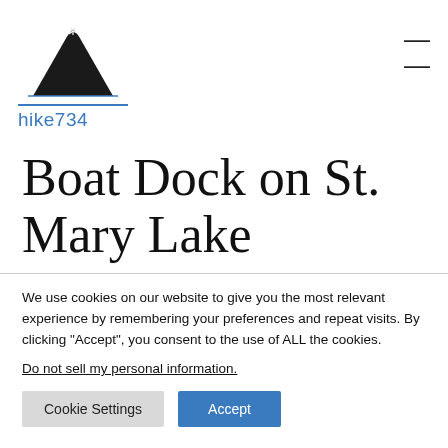[Figure (logo): hike734 logo with mountain silhouette illustration and blue underlined text 'hike734']
Boat Dock on St. Mary Lake
We use cookies on our website to give you the most relevant experience by remembering your preferences and repeat visits. By clicking "Accept", you consent to the use of ALL the cookies.
Do not sell my personal information.
Cookie Settings  Accept